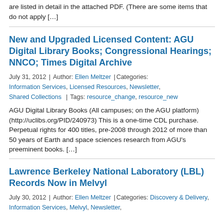are listed in detail in the attached PDF. (There are some items that do not apply […]
New and Upgraded Licensed Content: AGU Digital Library Books; Congressional Hearings; NNCO; Times Digital Archive
July 31, 2012 | Author: Ellen Meltzer | Categories: Information Services, Licensed Resources, Newsletter, Shared Collections | Tags: resource_change, resource_new
AGU Digital Library Books (All campuses; on the AGU platform) (http://uclibs.org/PID/240973) This is a one-time CDL purchase. Perpetual rights for 400 titles, pre-2008 through 2012 of more than 50 years of Earth and space sciences research from AGU's preeminent books. […]
Lawrence Berkeley National Laboratory (LBL) Records Now in Melvyl
July 30, 2012 | Author: Ellen Meltzer | Categories: Discovery & Delivery, Information Services, Melvyl, Newsletter,